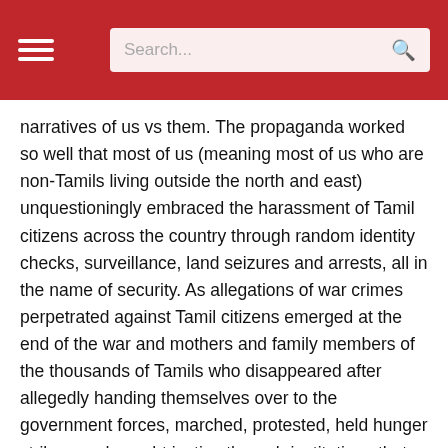Search...
narratives of us vs them. The propaganda worked so well that most of us (meaning most of us who are non-Tamils living outside the north and east) unquestioningly embraced the harassment of Tamil citizens across the country through random identity checks, surveillance, land seizures and arrests, all in the name of security. As allegations of war crimes perpetrated against Tamil citizens emerged at the end of the war and mothers and family members of the thousands of Tamils who disappeared after allegedly handing themselves over to the government forces, marched, protested, held hunger strikes, and sought justice through institutions that made a mockery of justice, we turned a blind eye. Why? Because ..."our war heroes", "it was only a few bad apples", "it wasn't our people", "how dare they tarnish the reputation of the country?", "they are all terrorists".